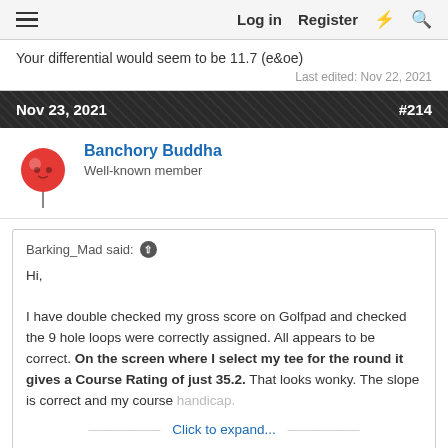Log in   Register
Your differential would seem to be 11.7 (e&oe)
Last edited: Nov 22, 2021
Nov 23, 2021   #214
Banchory Buddha
Well-known member
Barking_Mad said: ↑

Hi,

I have double checked my gross score on Golfpad and checked the 9 hole loops were correctly assigned. All appears to be correct. On the screen where I select my tee for the round it gives a Course Rating of just 35.2. That looks wonky. The slope is correct and my course handicap.
Click to expand...